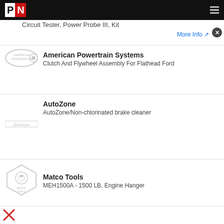PN
Circuit Tester, Power Probe III, Kit
More Info ↗
American Powertrain Systems
Clutch And Flywheel Assembly For Flathead Ford
AutoZone
AutoZone/Non-chlorinated brake cleaner
Matco Tools
MEH1500A - 1500 LB. Engine Hanger